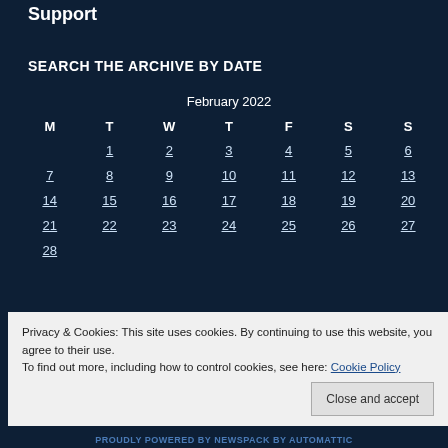Support
SEARCH THE ARCHIVE BY DATE
| M | T | W | T | F | S | S |
| --- | --- | --- | --- | --- | --- | --- |
|  | 1 | 2 | 3 | 4 | 5 | 6 |
| 7 | 8 | 9 | 10 | 11 | 12 | 13 |
| 14 | 15 | 16 | 17 | 18 | 19 | 20 |
| 21 | 22 | 23 | 24 | 25 | 26 | 27 |
| 28 |  |  |  |  |  |  |
Privacy & Cookies: This site uses cookies. By continuing to use this website, you agree to their use.
To find out more, including how to control cookies, see here: Cookie Policy
PROUDLY POWERED BY NEWSPACK BY AUTOMATTIC